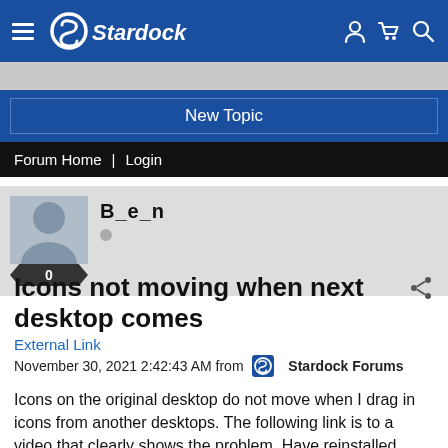Stardock — New Topic | Forum Home | Login
B_e_n
Icons not moving when next desktop comes
External Link
November 30, 2021 2:42:43 AM from  Stardock Forums
Icons on the original desktop do not move when I drag in icons from another desktops. The following link is to a video that clearly shows the problem. Have reinstalled